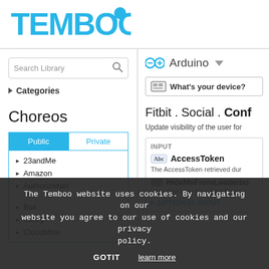[Figure (logo): Temboo logo in teal/cyan color with a chat bubble icon]
Search Library
Categories
Choreos
Public
Private
23andMe
Amazon
AuthorizeNet
Box
Clicky
CloudMine
Arduino
What's your device?
Fitbit . Social . Conf
Update visibility of the user for
INPUT
AccessToken
The AccessToken retrieved dur
HideMeFromLeaderbo
Hides the user from friend's le
OPTIONAL INPUT
The Temboo website uses cookies. By navigating on our website you agree to our use of cookies and our privacy policy.
GOTIT
learn more